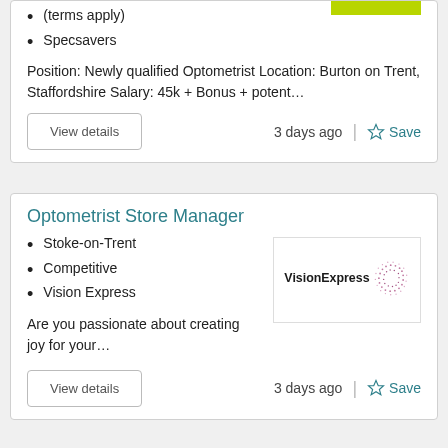(terms apply)
Specsavers
Position: Newly qualified Optometrist Location: Burton on Trent, Staffordshire Salary: 45k + Bonus + potent...
3 days ago
Optometrist Store Manager
Stoke-on-Trent
Competitive
Vision Express
[Figure (logo): Vision Express logo with dotted circle graphic]
Are you passionate about creating joy for your...
3 days ago